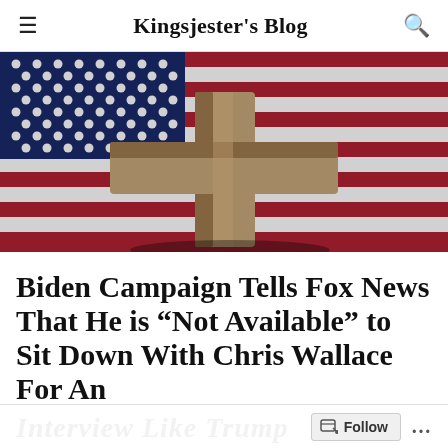Kingsjester's Blog
[Figure (photo): A wooden Christian cross lying on top of an American flag with stars and red and white stripes]
Biden Campaign Tells Fox News That He is “Not Available” to Sit Down With Chris Wallace For An Interview Like Trump
Follow